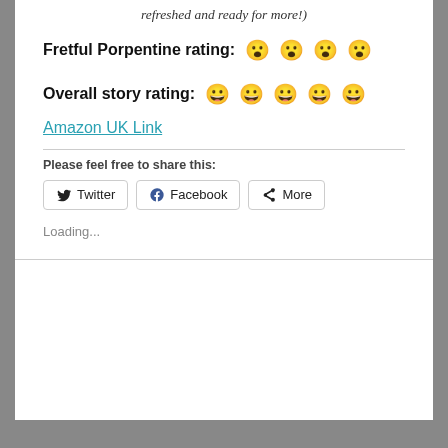refreshed and ready for more!)
Fretful Porpentine rating: 😮😮😮😮
Overall story rating: 😀😀😀😀😀
Amazon UK Link
Please feel free to share this:
Twitter  Facebook  More
Loading...